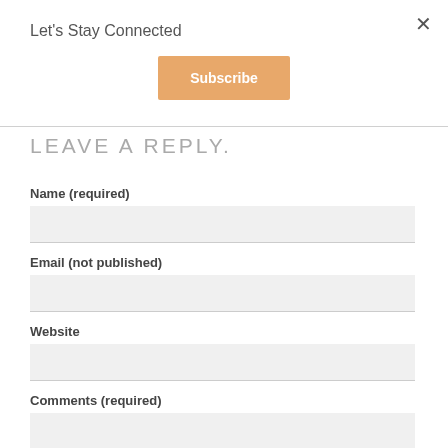Let's Stay Connected
[Figure (other): Subscribe button - orange/tan colored button with white text reading 'Subscribe']
LEAVE A REPLY.
Name (required)
Email (not published)
Website
Comments (required)